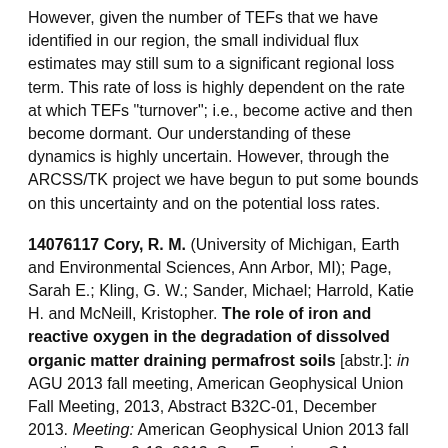However, given the number of TEFs that we have identified in our region, the small individual flux estimates may still sum to a significant regional loss term. This rate of loss is highly dependent on the rate at which TEFs "turnover"; i.e., become active and then become dormant. Our understanding of these dynamics is highly uncertain. However, through the ARCSS/TK project we have begun to put some bounds on this uncertainty and on the potential loss rates.
14076117 Cory, R. M. (University of Michigan, Earth and Environmental Sciences, Ann Arbor, MI); Page, Sarah E.; Kling, G. W.; Sander, Michael; Harrold, Katie H. and McNeill, Kristopher. The role of iron and reactive oxygen in the degradation of dissolved organic matter draining permafrost soils [abstr.]: in AGU 2013 fall meeting, American Geophysical Union Fall Meeting, 2013, Abstract B32C-01, December 2013. Meeting: American Geophysical Union 2013 fall meeting, Dec. 9-13, 2013, San Francisco, CA.